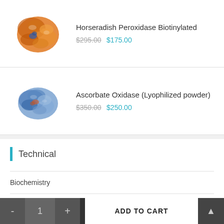Horseradish Peroxidase Biotinylated
$295.00 $175.00
[Figure (illustration): 3D protein structure illustration of Horseradish Peroxidase in orange/brown colors with blue accents]
Ascorbate Oxidase (Lyophilized powder)
$350.00 $250.00
[Figure (illustration): 3D protein structure illustration of Ascorbate Oxidase in blue/teal colors]
Technical
Biochemistry
Clinical Chemistry
Enzymology
- 1 + ADD TO CART ▲